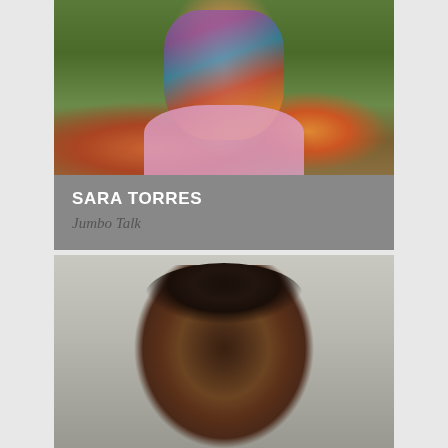[Figure (photo): Outdoor autumn photo of Sara Torres wearing a colorful patterned scarf and pink sweater, with fallen autumn leaves in the background]
SARA TORRES
Jumbo Talk
[Figure (photo): School portrait photo of a smiling young Black boy against a neutral grey background]